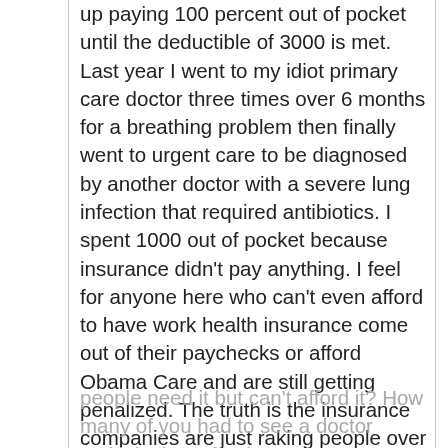up paying 100 percent out of pocket until the deductible of 3000 is met. Last year I went to my idiot primary care doctor three times over 6 months for a breathing problem then finally went to urgent care to be diagnosed by another doctor with a severe lung infection that required antibiotics. I spent 1000 out of pocket because insurance didn't pay anything. I feel for anyone here who can't even afford to have work health insurance come out of their paychecks or afford Obama Care and are still getting penalized. The truth is the insurance companies are just raking people over the coals either way. The entire health care system is failing everyone. How many people who have it don't use it because it doesn't even pay for any of their medical bills? How many people need it but can't afford it? How many of you had to see a doctor multiple times for the